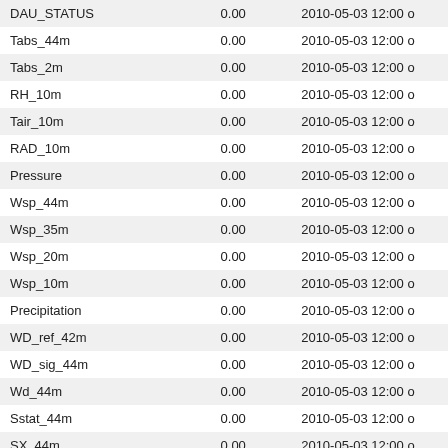| DAU_STATUS | 0.00 | 2010-05-03 12:00 o |
| Tabs_44m | 0.00 | 2010-05-03 12:00 o |
| Tabs_2m | 0.00 | 2010-05-03 12:00 o |
| RH_10m | 0.00 | 2010-05-03 12:00 o |
| Tair_10m | 0.00 | 2010-05-03 12:00 o |
| RAD_10m | 0.00 | 2010-05-03 12:00 o |
| Pressure | 0.00 | 2010-05-03 12:00 o |
| Wsp_44m | 0.00 | 2010-05-03 12:00 o |
| Wsp_35m | 0.00 | 2010-05-03 12:00 o |
| Wsp_20m | 0.00 | 2010-05-03 12:00 o |
| Wsp_10m | 0.00 | 2010-05-03 12:00 o |
| Precipitation | 0.00 | 2010-05-03 12:00 o |
| WD_ref_42m | 0.00 | 2010-05-03 12:00 o |
| WD_sig_44m | 0.00 | 2010-05-03 12:00 o |
| Wd_44m | 0.00 | 2010-05-03 12:00 o |
| Sstat_44m | 0.00 | 2010-05-03 12:00 o |
| SX_44m | 0.00 | 2010-05-03 12:00 o |
| SY_44m | 0.00 | 2010-05-03 12:00 o |
| SZ_44m | 0.00 | 2010-05-03 12:00 o |
| ST_44m | 0.00 | 2010-05-03 12:00 o |